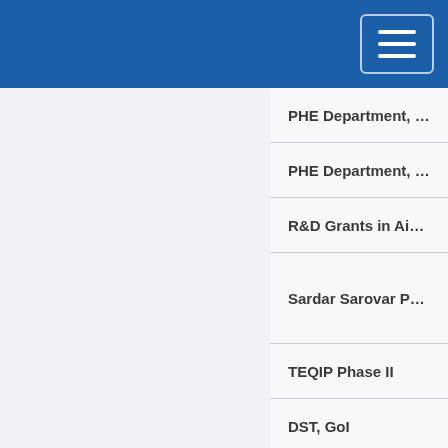| Organization |
| --- |
| PHE Department, MP |
| PHE Department, MP |
| R&D Grants in Aid Sc |
| Sardar Sarovar Proje |
| TEQIP Phase II |
| DST, GoI |
| United Nations Child |